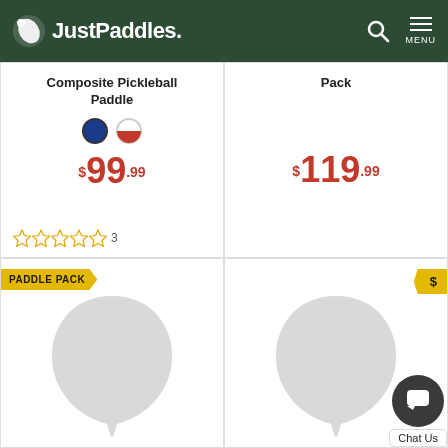JustPaddles.
Composite Pickleball Paddle
$99.99
3 reviews
Pack
$119.99
[Figure (other): PADDLE PACK badge and pickleball paddle product image (loading placeholder, gray silhouette)]
[Figure (other): Dollar sign badge and pickleball paddle product image (loading placeholder, gray silhouette)]
Chat Us